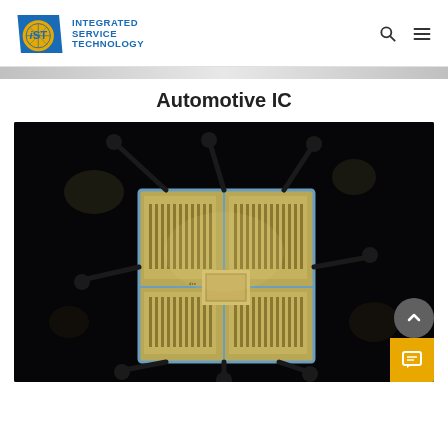Integrated Service Technology (IST) logo with search and menu icons
Automotive IC
[Figure (photo): Macro photograph of an automotive integrated circuit (IC) chip die under microscope, showing the die with bond wires attached at corners and sides, circuit structures visible on the golden die surface, against a black background.]